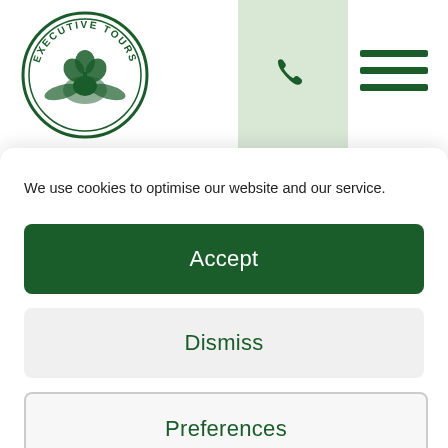[Figure (logo): Executive Tours circular logo with shamrock and eagle design]
[Figure (other): Phone icon button on light green background]
[Figure (other): Hamburger menu icon with three dark green horizontal lines]
We use cookies to optimise our website and our service.
Accept
Dismiss
Preferences
Cookie Policy   Privacy Policy
Let's keep in touch!
[Figure (logo): TripAdvisor owl icon in white]
Can we keep you informed of special offers and new additions to our tours? Just sign up for our